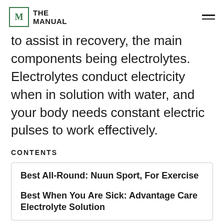THE MANUAL
to assist in recovery, the main components being electrolytes. Electrolytes conduct electricity when in solution with water, and your body needs constant electric pulses to work effectively.
CONTENTS
Best All-Round: Nuun Sport, For Exercise
Best When You Are Sick: Advantage Care Electrolyte Solution